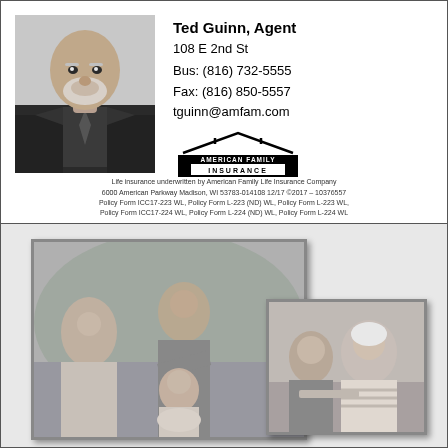[Figure (photo): Headshot of Ted Guinn, a bald older man with white beard wearing dark suit and tie]
Ted Guinn, Agent
108 E 2nd St
Bus: (816) 732-5555
Fax: (816) 850-5557
tguinn@amfam.com
[Figure (logo): American Family Insurance logo with roof/house icon and text]
Life insurance underwritten by American Family Life Insurance Company 6000 American Parkway Madison, WI 53783-014108 12/17 ©2017 – 10376557 Policy Form ICC17-223 WL, Policy Form L-223 (ND) WL, Policy Form L-223 WL, Policy Form ICC17-224 WL, Policy Form L-224 (ND) WL, Policy Form L-224 WL
[Figure (photo): Family photo: woman, man leaning over young girl, black and white]
[Figure (photo): Older woman talking with younger person at table, black and white]